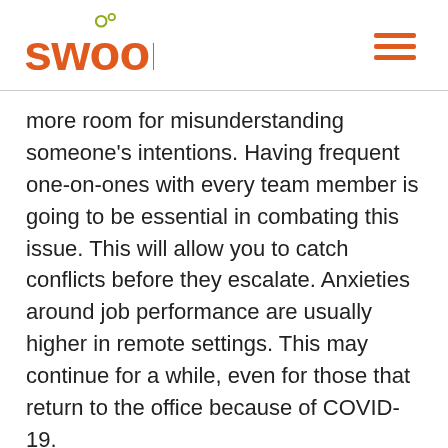[Figure (logo): Swoon logo with orange text and olive/green bubble circles above the letters]
more room for misunderstanding someone's intentions. Having frequent one-on-ones with every team member is going to be essential in combating this issue. This will allow you to catch conflicts before they escalate. Anxieties around job performance are usually higher in remote settings. This may continue for a while, even for those that return to the office because of COVID-19.